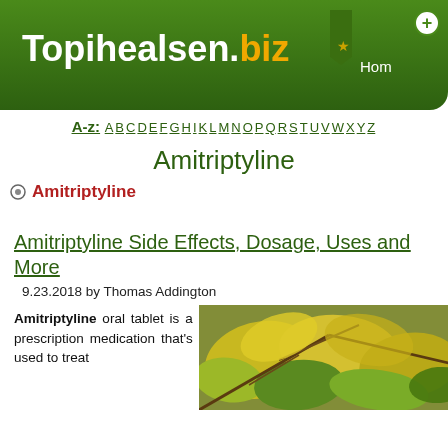Topihealsen.biz | Home
A-z: A B C D E F G H I K L M N O P Q R S T U V W X Y Z
Amitriptyline
Amitriptyline
Amitriptyline Side Effects, Dosage, Uses and More
9.23.2018 by Thomas Addington
Amitriptyline oral tablet is a prescription medication that's used to treat
[Figure (photo): Close-up photo of yellow and green autumn leaves on branches]